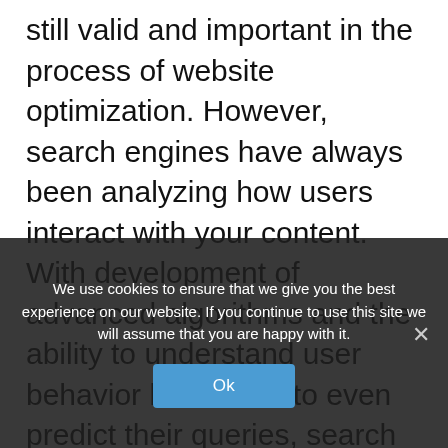still valid and important in the process of website optimization. However, search engines have always been analyzing how users interact with your content. With development of advanced algorithms and the ability to understand user behavior better and to even predict their queries, search engines now take into account this behavior as well. What this means is that today, it isn't only about how search engines now have the capability to understand how users see your content. Tracking and analyzing user behavior enables them to deduct if the page is
We use cookies to ensure that we give you the best experience on our website. If you continue to use this site we will assume that you are happy with it.